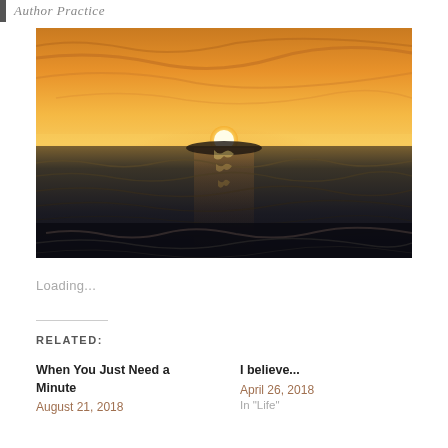Author Practice
[Figure (photo): Sunset over ocean water — warm orange and golden sky with the sun low on the horizon, dark choppy water in the foreground with light reflections on the surface.]
Loading...
RELATED:
When You Just Need a Minute
August 21, 2018
I believe...
April 26, 2018
In "Life"